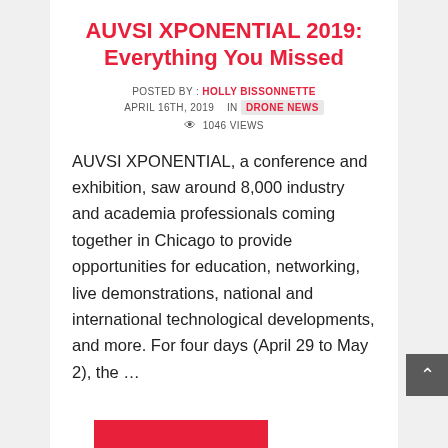AUVSI XPONENTIAL 2019: Everything You Missed
POSTED BY : HOLLY BISSONNETTE
APRIL 16TH, 2019   IN DRONE NEWS
👁 1046 VIEWS
AUVSI XPONENTIAL, a conference and exhibition, saw around 8,000 industry and academia professionals coming together in Chicago to provide opportunities for education, networking, live demonstrations, national and international technological developments, and more. For four days (April 29 to May 2), the …